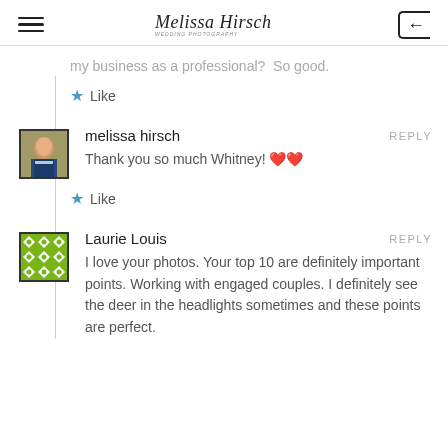Melissa Hirsch Photography
my business as a professional?  So good.
★ Like
[Figure (photo): Profile photo of melissa hirsch - woman in dark top against red/brick background]
melissa hirsch   REPLY
Thank you so much Whitney! 💕💕
★ Like
[Figure (illustration): Laurie Louis avatar - green geometric pattern with X/flower shapes in a square grid]
Laurie Louis   REPLY
I love your photos. Your top 10 are definitely important points. Working with engaged couples. I definitely see the deer in the headlights sometimes and these points are perfect.